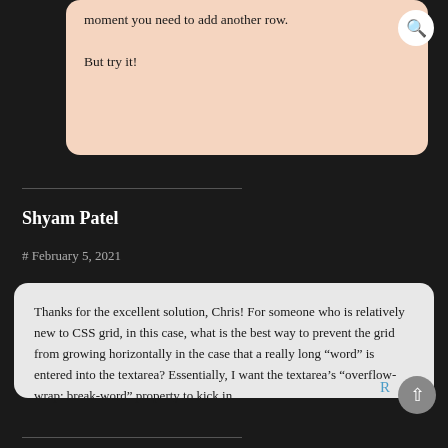moment you need to add another row.

But try it!
Shyam Patel
# February 5, 2021
Thanks for the excellent solution, Chris! For someone who is relatively new to CSS grid, in this case, what is the best way to prevent the grid from growing horizontally in the case that a really long “word” is entered into the textarea? Essentially, I want the textarea’s “overflow-wrap: break-word” property to kick in.